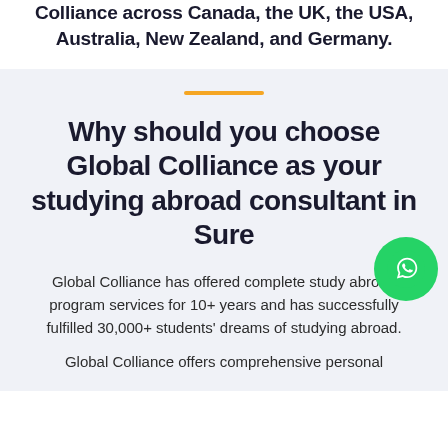Colliance across Canada, the UK, the USA, Australia, New Zealand, and Germany.
Why should you choose Global Colliance as your studying abroad consultant in Sur...
Global Colliance has offered complete study abroad program services for 10+ years and has successfully fulfilled 30,000+ students' dreams of studying abroad.
Global Colliance offers comprehensive personal...